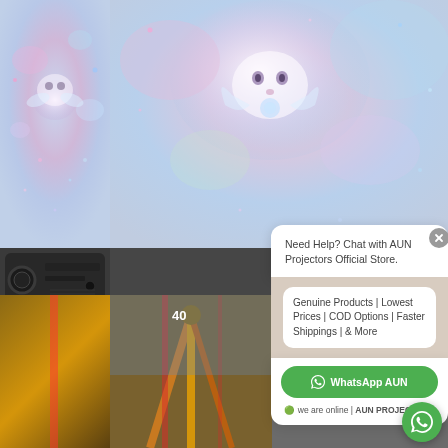[Figure (screenshot): E-commerce website screenshot showing a projector product page with a WhatsApp chat widget popup overlay. Background shows product images including a colorful art display on a projector screen and a projector device. Bottom shows multiple product/lifestyle images.]
Need Help?  Chat with AUN Projectors Official Store.
Genuine Products | Lowest Prices | COD Options | Faster Shippings | & More
⬤ we are online | AUN PROJECTORS